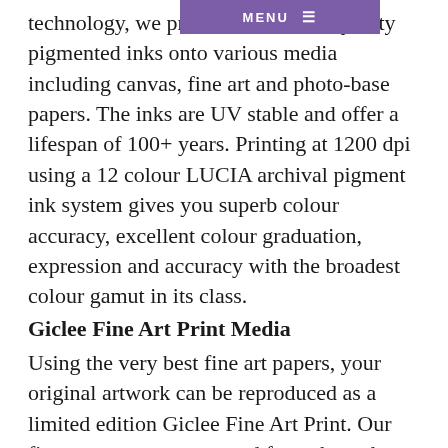technology, we print with archival quality pigmented inks onto various media including canvas, fine art and photo-base papers. The inks are UV stable and offer a lifespan of 100+ years. Printing at 1200 dpi using a 12 colour LUCIA archival pigment ink system gives you superb colour accuracy, excellent colour graduation, expression and accuracy with the broadest colour gamut in its class.
Giclee Fine Art Print Media
Using the very best fine art papers, your original artwork can be reproduced as a limited edition Giclee Fine Art Print. Our fine art papers are sourced from these three world famous paper mills – Hahnemuhle – Canson and Arches – St Cuthberts Mill.
Medium and Materials
Guide and Glossary
Papers, canvases and types
GSM
GSM (grams per square metre) is the standard